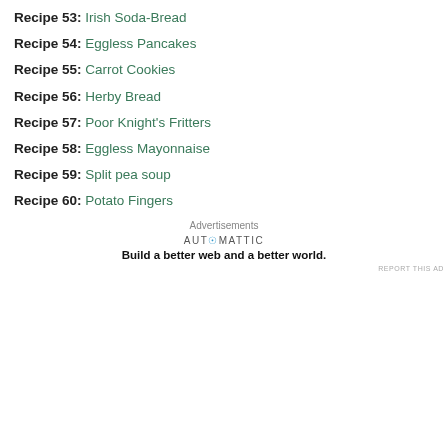Recipe 53: Irish Soda-Bread
Recipe 54: Eggless Pancakes
Recipe 55: Carrot Cookies
Recipe 56: Herby Bread
Recipe 57: Poor Knight's Fritters
Recipe 58: Eggless Mayonnaise
Recipe 59: Split pea soup
Recipe 60: Potato Fingers
Advertisements
[Figure (logo): Automattic logo with tagline: Build a better web and a better world.]
REPORT THIS AD